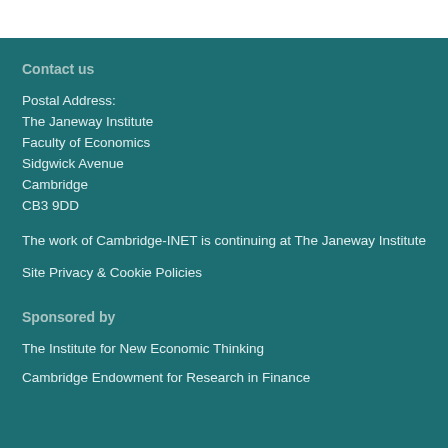Contact us
Postal Address:
The Janeway Institute
Faculty of Economics
Sidgwick Avenue
Cambridge
CB3 9DD
The work of Cambridge-INET is continuing at The Janeway Institute
Site Privacy & Cookie Policies
Sponsored by
The Institute for New Economic Thinking
Cambridge Endowment for Research in Finance